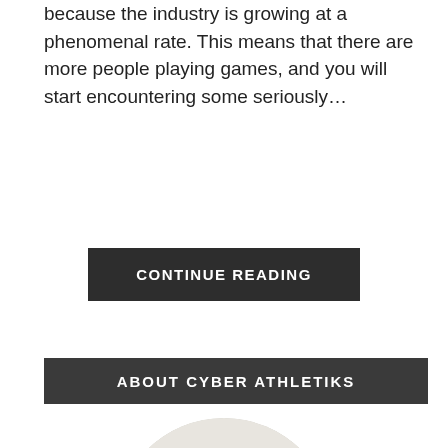because the industry is growing at a phenomenal rate. This means that there are more people playing games, and you will start encountering some seriously…
CONTINUE READING
ABOUT CYBER ATHLETIKS
[Figure (photo): A person wearing gaming headphones and glasses sitting at a gaming PC setup with RGB lighting, viewed from the side, displayed in a circular crop.]